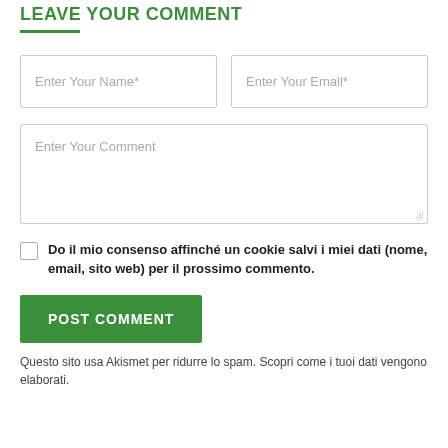LEAVE YOUR COMMENT
[Figure (screenshot): Web form with fields: Enter Your Name*, Enter Your Email*, Enter Your Comment textarea, checkbox with consent text, POST COMMENT button, and footer text about Akismet spam protection.]
Enter Your Name*
Enter Your Email*
Enter Your Comment
Do il mio consenso affinché un cookie salvi i miei dati (nome, email, sito web) per il prossimo commento.
POST COMMENT
Questo sito usa Akismet per ridurre lo spam. Scopri come i tuoi dati vengono elaborati.